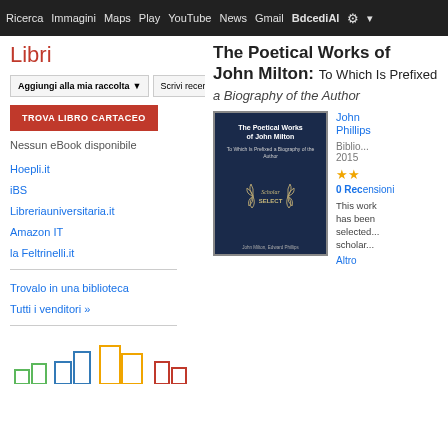Ricerca  Immagini  Maps  Play  YouTube  News  Gmail  BdcediAl ⚙ ▾
Libri
Aggiungi alla mia raccolta ▾   Scrivi recensione   ⚙ ▾
TROVA LIBRO CARTACEO
Nessun eBook disponibile
Hoepli.it
iBS
Libreriauniversitaria.it
Amazon IT
la Feltrinelli.it
Trovalo in una biblioteca
Tutti i venditori »
The Poetical Works of John Milton: To Which Is Prefixed a Biography of the Author
[Figure (photo): Book cover of 'The Poetical Works of John Milton' with dark navy background and Scholar Select seal]
John Milton, Edward Phillips
Biblio...
2015
★★
0 Recensioni
This work has been selected... select... scholarly...
Altro
[Figure (bar-chart): Small bar chart with colored book-like bars at the bottom left of the page]